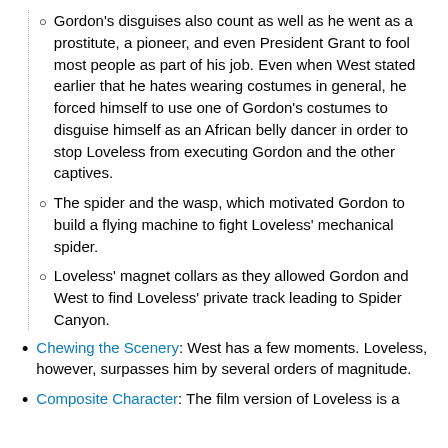Gordon's disguises also count as well as he went as a prostitute, a pioneer, and even President Grant to fool most people as part of his job. Even when West stated earlier that he hates wearing costumes in general, he forced himself to use one of Gordon's costumes to disguise himself as an African belly dancer in order to stop Loveless from executing Gordon and the other captives.
The spider and the wasp, which motivated Gordon to build a flying machine to fight Loveless' mechanical spider.
Loveless' magnet collars as they allowed Gordon and West to find Loveless' private track leading to Spider Canyon.
Chewing the Scenery: West has a few moments. Loveless, however, surpasses him by several orders of magnitude.
Composite Character: The film version of Loveless is a